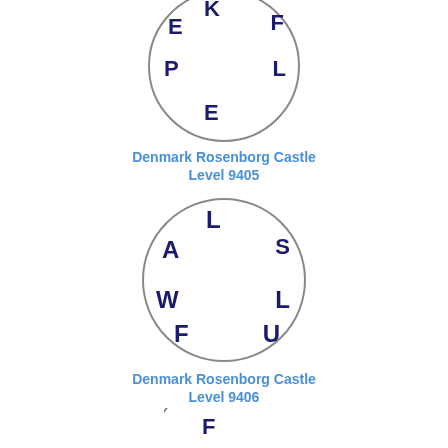[Figure (illustration): Circle puzzle with letters K, E, F, P, L, E arranged around the inside of a circle]
Denmark Rosenborg Castle
Level 9405
[Figure (illustration): Circle puzzle with letters L, A, S, W, L, F, U arranged around the inside of a circle]
Denmark Rosenborg Castle
Level 9406
[Figure (illustration): Circle puzzle partially visible at bottom with letters F, O, N visible]